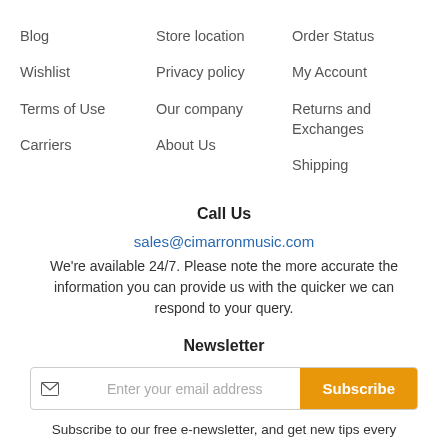Blog
Store location
Order Status
Wishlist
Privacy policy
My Account
Terms of Use
Our company
Returns and Exchanges
Carriers
About Us
Shipping
Call Us
sales@cimarronmusic.com
We're available 24/7. Please note the more accurate the information you can provide us with the quicker we can respond to your query.
Newsletter
Enter your email address
Subscribe
Subscribe to our free e-newsletter, and get new tips every